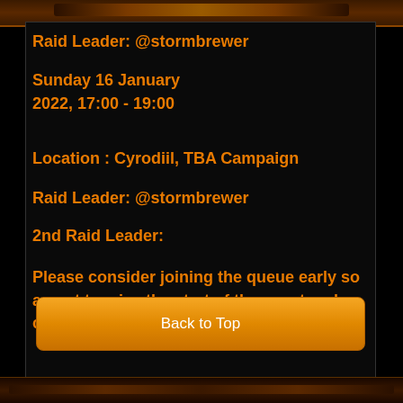[Figure (illustration): Decorative fantasy-themed banner image at top of page with dark orange/brown tones]
Raid Leader: @stormbrewer
Sunday 16 January 2022, 17:00 - 19:00
Location : Cyrodiil, TBA Campaign
Raid Leader: @stormbrewer
2nd Raid Leader:
Please consider joining the queue early so as not to miss the start of the event and check the bank for siege equipment.
Back to Top
[Figure (illustration): Decorative fantasy-themed banner image at bottom of page with dark brown tones]